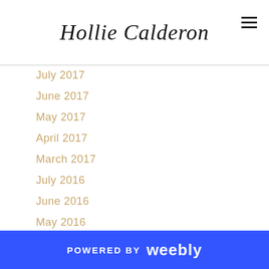Hollie Calderon
July 2017
June 2017
May 2017
April 2017
March 2017
July 2016
June 2016
May 2016
April 2016
March 2016
February 2016
January 2016
December 2015
November 2015
POWERED BY weebly